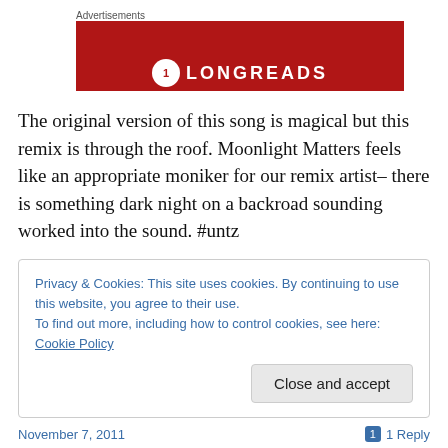[Figure (logo): Longreads advertisement banner with red background and Longreads logo]
The original version of this song is magical but this remix is through the roof. Moonlight Matters feels like an appropriate moniker for our remix artist– there is something dark night on a backroad sounding worked into the sound. #untz
Privacy & Cookies: This site uses cookies. By continuing to use this website, you agree to their use.
To find out more, including how to control cookies, see here: Cookie Policy
November 7, 2011   1 Reply